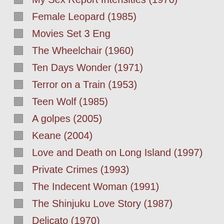My Sex Report Intensities (1976)
Female Leopard (1985)
Movies Set 3 Eng
The Wheelchair (1960)
Ten Days Wonder (1971)
Terror on a Train (1953)
Teen Wolf (1985)
A golpes (2005)
Keane (2004)
Love and Death on Long Island (1997)
Private Crimes (1993)
The Indecent Woman (1991)
The Shinjuku Love Story (1987)
Delicato (1970)
The Queen (1968)